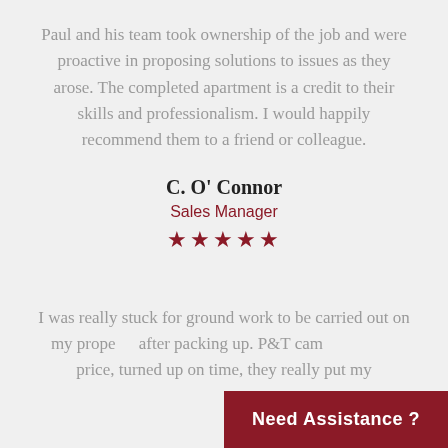Paul and his team took ownership of the job and were proactive in proposing solutions to issues as they arose. The completed apartment is a credit to their skills and professionalism. I would happily recommend them to a friend or colleague.
C. O' Connor
Sales Manager
★★★★★
I was really stuck for ground work to be carried out on my prope... after packing up. P&T cam... price, turned up on time, they really put my
Need Assistance ?